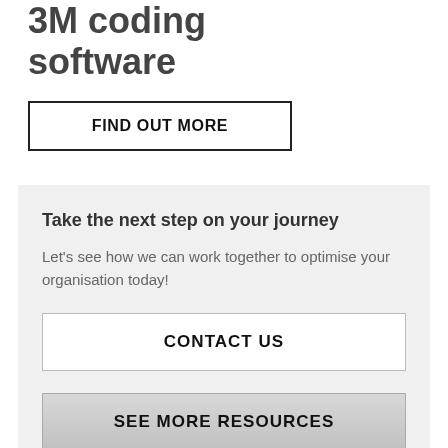3M coding software
FIND OUT MORE
Take the next step on your journey
Let's see how we can work together to optimise your organisation today!
CONTACT US
SEE MORE RESOURCES